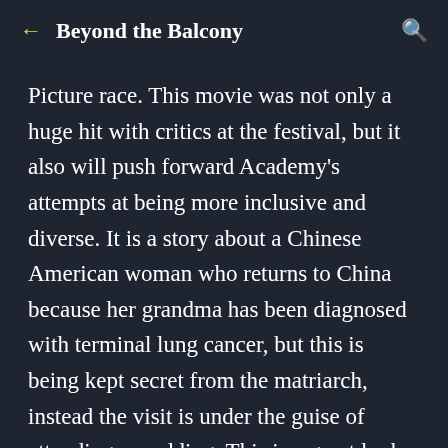Beyond the Balcony
Picture race. This movie was not only a huge hit with critics at the festival, but it also will push forward Academy's attempts at being more inclusive and diverse. It is a story about a Chinese American woman who returns to China because her grandma has been diagnosed with terminal lung cancer, but this is being kept secret from the matriarch, instead the visit is under the guise of attending a wedding. This is a great look into another culture, while also representing a group that still doesn't get enough American movies on the big screen. If this ends up having a strong